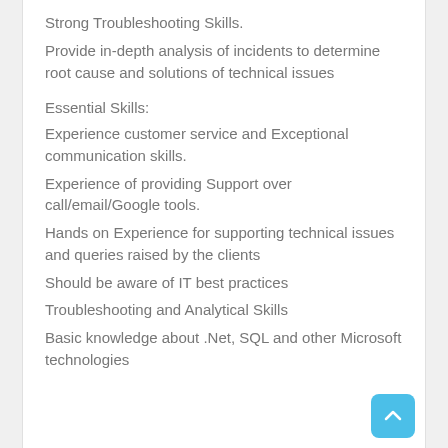Strong Troubleshooting Skills.
Provide in-depth analysis of incidents to determine root cause and solutions of technical issues
Essential Skills:
Experience customer service and Exceptional communication skills.
Experience of providing Support over call/email/Google tools.
Hands on Experience for supporting technical issues and queries raised by the clients
Should be aware of IT best practices
Troubleshooting and Analytical Skills
Basic knowledge about .Net, SQL and other Microsoft technologies